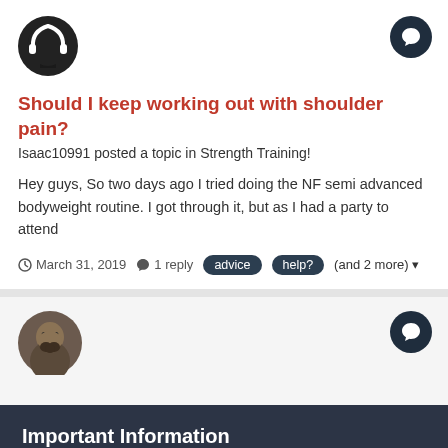[Figure (illustration): Dark circular user avatar icon at top left]
[Figure (illustration): Dark circular chat/message button icon at top right]
Should I keep working out with shoulder pain?
Isaac10991 posted a topic in Strength Training!
Hey guys, So two days ago I tried doing the NF semi advanced bodyweight routine. I got through it, but as I had a party to attend
March 31, 2019   1 reply   advice   help?   (and 2 more)
[Figure (photo): Circular profile photo of a man with beard, second post avatar]
[Figure (illustration): Dark circular chat/message button icon at right of second section]
Important Information
New here? Please check out our Privacy Policy and Community Guidelines
✓  I accept